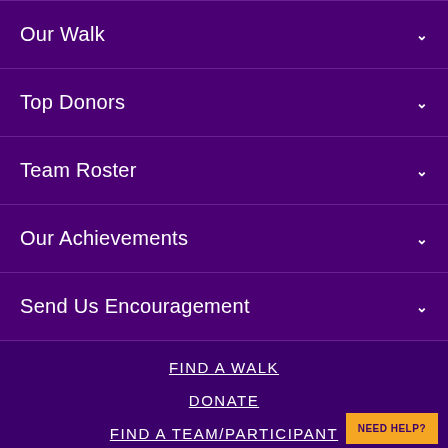Our Walk
Top Donors
Team Roster
Our Achievements
Send Us Encouragement
FIND A WALK
DONATE
FIND A TEAM/PARTICIPANT
NEED HELP?
WALK TO